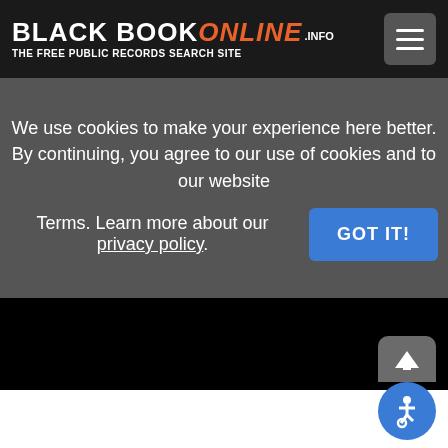BLACK BOOK ONLINE .INFO — THE FREE PUBLIC RECORDS SEARCH SITE
We use cookies to make your experience here better. By continuing, you agree to our use of cookies and to our website Terms. Learn more about our privacy policy.
[Figure (screenshot): GOT IT! button — blue rounded rectangle with white bold text]
[Figure (screenshot): Black main content area below cookie banner]
[Figure (screenshot): Accessibility widget: scroll-to-top button and wheelchair accessibility icon]